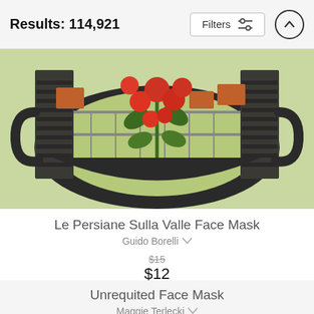Results: 114,921
Filters
[Figure (photo): A face mask product featuring a painting of roses in a pot on a balcony with shutters and a landscape view — Le Persiane Sulla Valle Face Mask]
Le Persiane Sulla Valle Face Mask
Guido Borelli
$15 (strikethrough) $12
Unrequited Face Mask
Maggie Terlecki